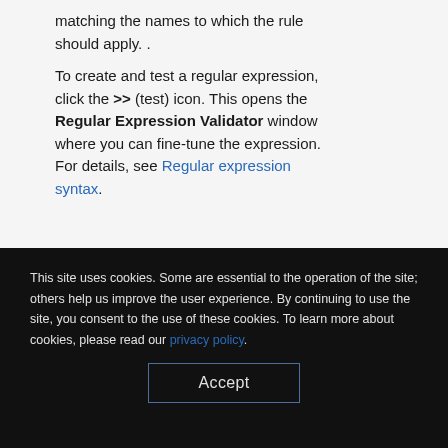matching the names to which the rule should apply. .
To create and test a regular expression, click the >> (test) icon. This opens the Regular Expression Validator window where you can fine-tune the expression. For details, see Regular expression syntax.
This site uses cookies. Some are essential to the operation of the site; others help us improve the user experience. By continuing to use the site, you consent to the use of these cookies. To learn more about cookies, please read our privacy policy.
Accept